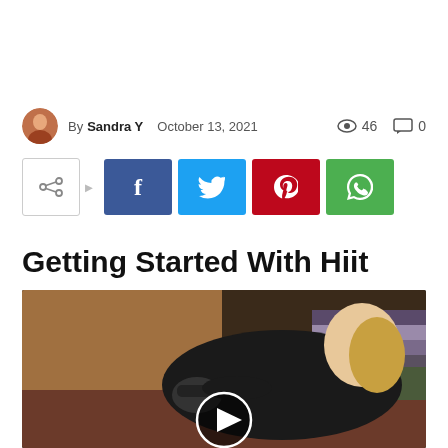By Sandra Y   October 13, 2021   👁 46   💬 0
[Figure (infographic): Social share buttons: share icon, Facebook, Twitter, Pinterest, WhatsApp]
Getting Started With Hiit
[Figure (photo): Video thumbnail showing a woman in a gym holding dumbbells doing HIIT exercises, with a play button overlay]